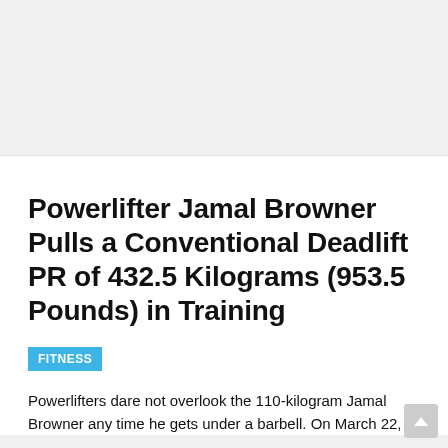Powerlifter Jamal Browner Pulls a Conventional Deadlift PR of 432.5 Kilograms (953.5 Pounds) in Training
FITNESS
Powerlifters dare not overlook the 110-kilogram Jamal Browner any time he gets under a barbell. On March 22,